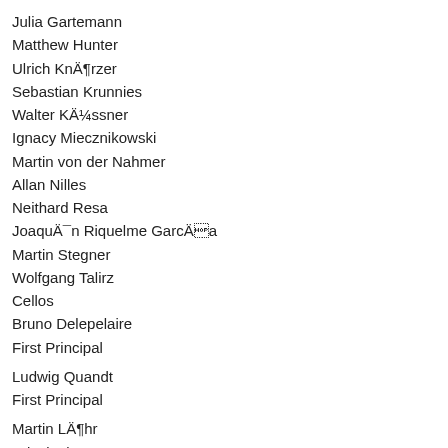Julia Gartemann
Matthew Hunter
Ulrich Knörzer
Sebastian Krunnies
Walter Küssner
Ignacy Miecznikowski
Martin von der Nahmer
Allan Nilles
Neithard Resa
Joaquín Riquelme García
Martin Stegner
Wolfgang Talirz
Cellos
Bruno Delepelaire
First Principal
Ludwig Quandt
First Principal
Martin Löhr
Principal
Olaf Maninger
Second Violins
Christian Stadelmann